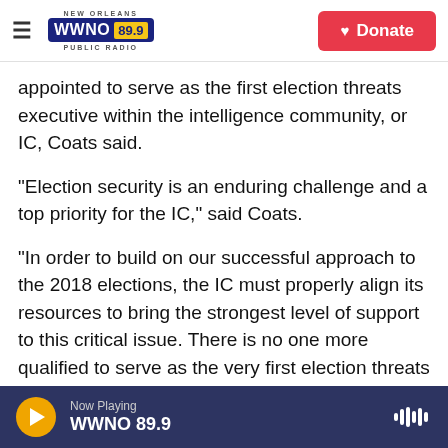NEW ORLEANS WWNO 89.9 PUBLIC RADIO | Donate
appointed to serve as the first election threats executive within the intelligence community, or IC, Coats said.
"Election security is an enduring challenge and a top priority for the IC," said Coats.
"In order to build on our successful approach to the 2018 elections, the IC must properly align its resources to bring the strongest level of support to this critical issue. There is no one more qualified to serve as the very first election threats executive than Shelby Pierson, whose knowledge and
Now Playing WWNO 89.9